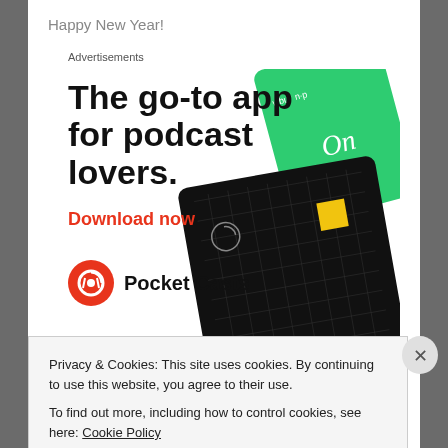Happy New Year!
Advertisements
[Figure (illustration): Pocket Casts app advertisement showing podcast cover art cards including 99% Invisible (black), The Daily (blue gradient), and another green card. Bold headline: 'The go-to app for podcast lovers.' with red 'Download now' CTA and Pocket Casts logo.]
Privacy & Cookies: This site uses cookies. By continuing to use this website, you agree to their use.
To find out more, including how to control cookies, see here: Cookie Policy
Close and accept